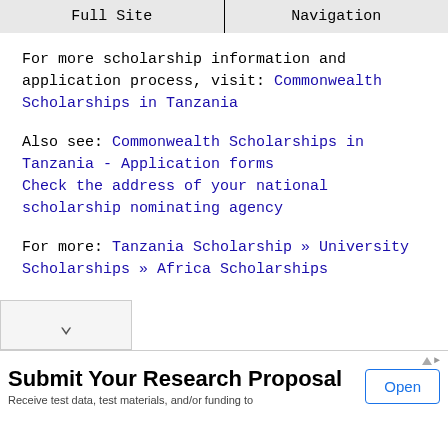Full Site | Navigation
For more scholarship information and application process, visit: Commonwealth Scholarships in Tanzania
Also see: Commonwealth Scholarships in Tanzania - Application forms
Check the address of your national scholarship nominating agency
For more: Tanzania Scholarship » University Scholarships » Africa Scholarships
[Figure (screenshot): Chevron/down-arrow button at bottom left]
[Figure (screenshot): Advertisement bar: Submit Your Research Proposal — Receive test data, test materials, and/or funding to — Open button]